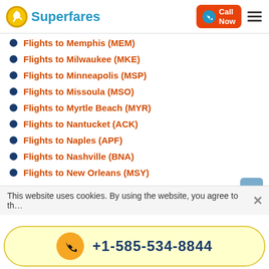Superfares
Flights to Memphis (MEM)
Flights to Milwaukee (MKE)
Flights to Minneapolis (MSP)
Flights to Missoula (MSO)
Flights to Myrtle Beach (MYR)
Flights to Nantucket (ACK)
Flights to Naples (APF)
Flights to Nashville (BNA)
Flights to New Orleans (MSY)
International Flight Deals
This website uses cookies. By using the website, you agree to th…
+1-585-534-8844